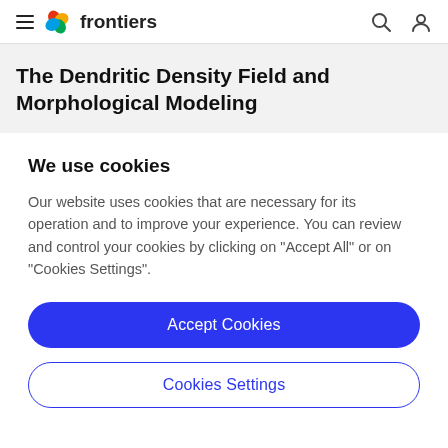frontiers
The Dendritic Density Field and Morphological Modeling
We use cookies
Our website uses cookies that are necessary for its operation and to improve your experience. You can review and control your cookies by clicking on "Accept All" or on "Cookies Settings".
Accept Cookies
Cookies Settings